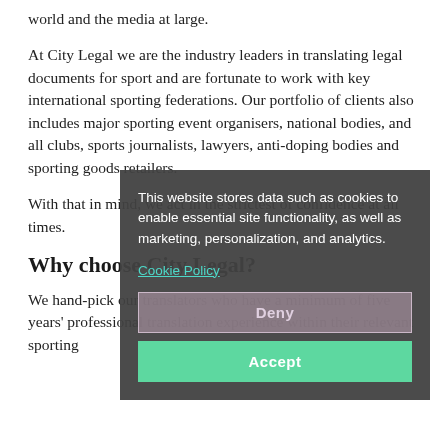world and the media at large.
At City Legal we are the industry leaders in translating legal documents for sport and are fortunate to work with key international sporting federations. Our portfolio of clients also includes major sporting event organisers, national bodies, and all clubs, sports journalists, lawyers, anti-doping bodies and sporting goods retailers.
With that in mind, we act in the strictest of confidence at all times.
Why choose City Legal?
We hand-pick our translators who have a minimum of five years' professional translation experience within their relevant sporting
[Figure (screenshot): Cookie consent modal overlay with dark semi-transparent background. Contains text: 'This website stores data such as cookies to enable essential site functionality, as well as marketing, personalization, and analytics.' followed by a 'Cookie Policy' link in teal, a 'Deny' button with light purple/grey styling, and an 'Accept' button with green styling.]